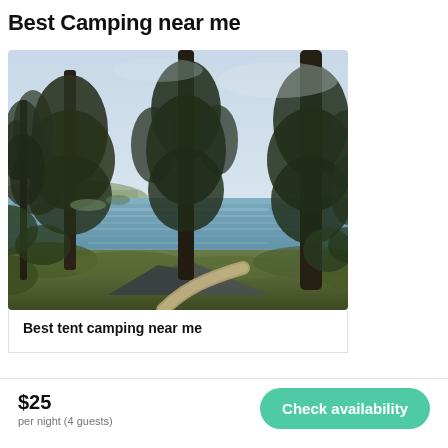Best Camping near me
[Figure (photo): Outdoor camping scene with tall pine trees in the foreground, a coastal ocean view in the background, and a tent with a wooden pathway visible at the bottom of the image.]
Best tent camping near me
$25
per night (4 guests)
Check availability